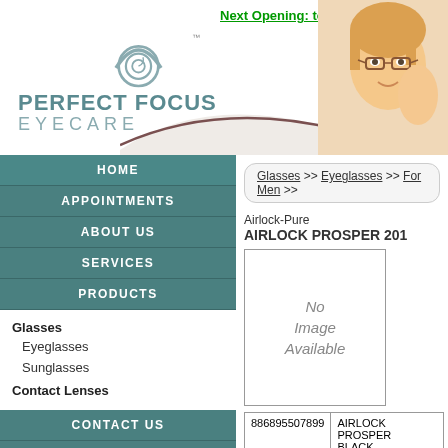[Figure (logo): Perfect Focus Eyecare logo with eye icon and text]
Next Opening: tomorrow at 9:40 A[M]
[Figure (photo): Photo of a young child wearing glasses]
HOME
APPOINTMENTS
ABOUT US
SERVICES
PRODUCTS
Glasses
  Eyeglasses
  Sunglasses
Contact Lenses
CONTACT US
INSURANCE
FAQ'S
PAY MY BILL
Glasses >> Eyeglasses >> For Men >>
Airlock-Pure
AIRLOCK PROSPER 201
[Figure (other): No Image Available placeholder box]
|  |  |
| --- | --- |
| 886895507899 | AIRLOCK PROSPER
BLACK
53/18/140 |